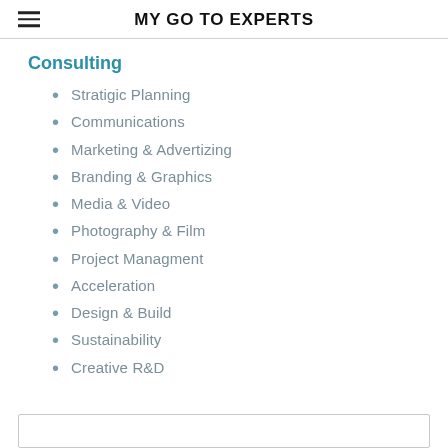MY GO TO EXPERTS
Consulting
Stratigic Planning
Communications
Marketing & Advertizing
Branding & Graphics
Media & Video
Photography & Film
Project Managment
Acceleration
Design & Build
Sustainability
Creative R&D